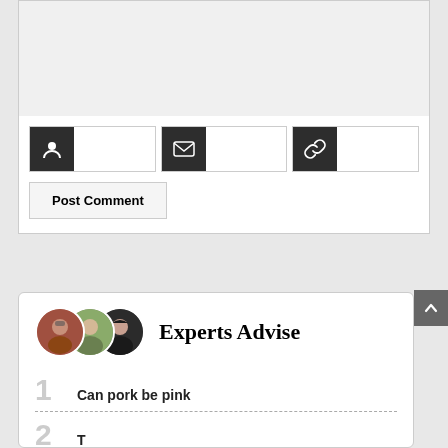[Figure (screenshot): Comment form area with a textarea input box (gray background), three icon-prefixed input fields (person, email, link icons with dark backgrounds), and a Post Comment button.]
Post Comment
[Figure (infographic): Experts Advise widget card with three circular avatar photos and a bold serif title 'Experts Advise']
1   Can pork be pink
2   (partially visible)